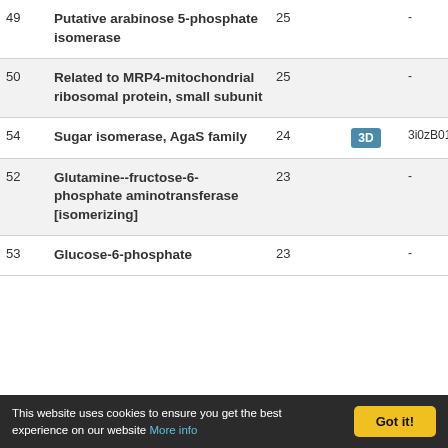| # | Name | Score | 3D | PDB |
| --- | --- | --- | --- | --- |
| 49 | Putative arabinose 5-phosphate isomerase | 25 |  | - |
| 50 | Related to MRP4-mitochondrial ribosomal protein, small subunit | 25 |  | - |
| 54 | Sugar isomerase, AgaS family | 24 | 3D | 3i0zB01 |
| 52 | Glutamine--fructose-6-phosphate aminotransferase [isomerizing] | 23 |  | - |
| 53 | Glucose-6-phosphate | 23 |  | - |
This website uses cookies to ensure you get the best experience on our website More info